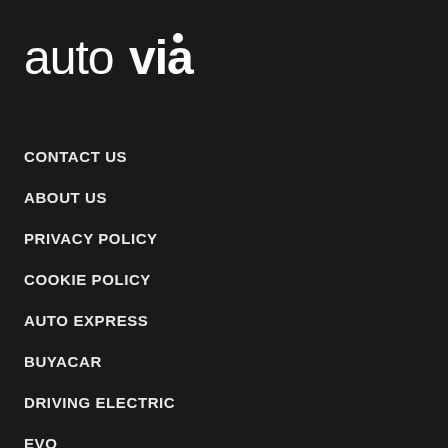[Figure (logo): autovia logo in white on dark background]
CONTACT US
ABOUT US
PRIVACY POLICY
COOKIE POLICY
AUTO EXPRESS
BUYACAR
DRIVING ELECTRIC
EVO
PRIVACY PREFERENCES